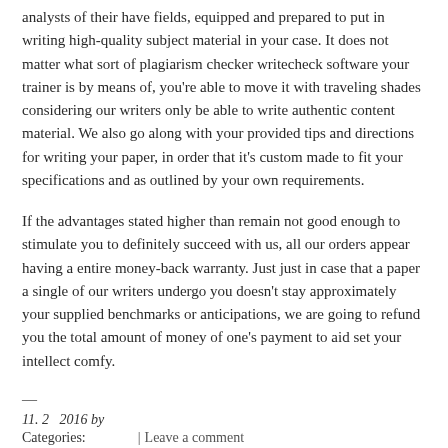analysts of their have fields, equipped and prepared to put in writing high-quality subject material in your case. It does not matter what sort of plagiarism checker writecheck software your trainer is by means of, you're able to move it with traveling shades considering our writers only be able to write authentic content material. We also go along with your provided tips and directions for writing your paper, in order that it's custom made to fit your specifications and as outlined by your own requirements.
If the advantages stated higher than remain not good enough to stimulate you to definitely succeed with us, all our orders appear having a entire money-back warranty. Just just in case that a paper a single of our writers undergo you doesn't stay approximately your supplied benchmarks or anticipations, we are going to refund you the total amount of money of one's payment to aid set your intellect comfy.
—
11. 2　2016 by
Categories:              |  Leave a comment